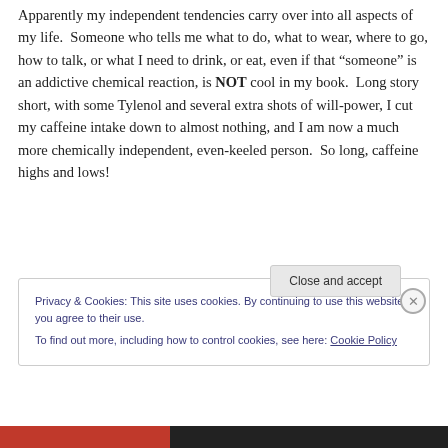Apparently my independent tendencies carry over into all aspects of my life.  Someone who tells me what to do, what to wear, where to go, how to talk, or what I need to drink, or eat, even if that “someone” is an addictive chemical reaction, is NOT cool in my book.  Long story short, with some Tylenol and several extra shots of will-power, I cut my caffeine intake down to almost nothing, and I am now a much more chemically independent, even-keeled person.  So long, caffeine highs and lows!
Privacy & Cookies: This site uses cookies. By continuing to use this website, you agree to their use. To find out more, including how to control cookies, see here: Cookie Policy